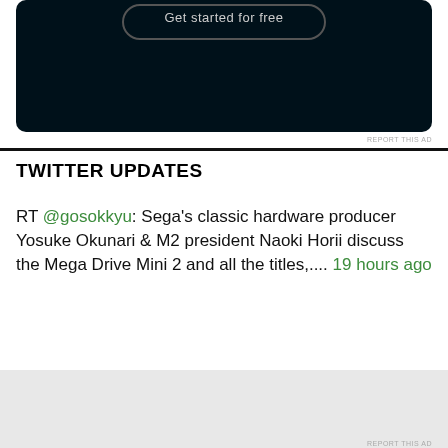[Figure (screenshot): Dark navy/black advertisement block with a rounded button outline at the top containing partially visible text 'Get started for free']
REPORT THIS AD
TWITTER UPDATES
RT @gosokkyu: Sega's classic hardware producer Yosuke Okunari & M2 president Naoki Horii discuss the Mega Drive Mini 2 and all the titles,.... 19 hours ago
Advertisements
[Figure (screenshot): DuckDuckGo advertisement banner: orange-red left panel with 'Search, browse, and email with more privacy. All in One Free App' and dark right panel with DuckDuckGo duck logo and brand name]